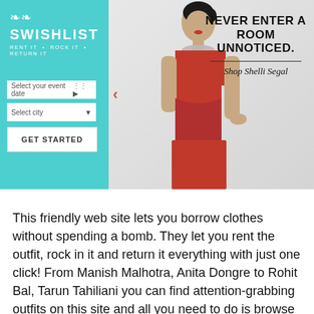[Figure (screenshot): Screenshot of Swishlist website showing teal left panel with logo 'SWISHLIST RENT IT · ROCK IT · RETURN IT', event date selector, city selector, GET STARTED button, and right panel showing a model in a red dress with text 'NEVER ENTER A ROOM UNNOTICED.' and 'Shop Shelli Segal']
This friendly web site lets you borrow clothes without spending a bomb. They let you rent the outfit, rock in it and return it everything with just one click! From Manish Malhotra, Anita Dongre to Rohit Bal, Tarun Tahiliani you can find attention-grabbing outfits on this site and all you need to do is browse